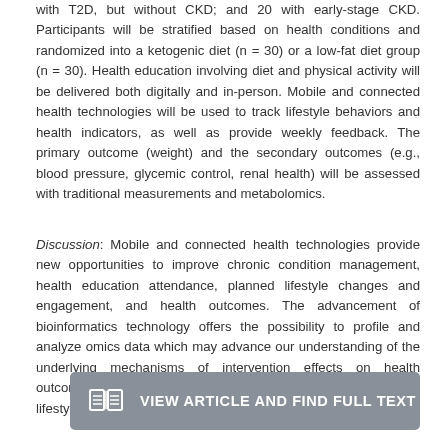with T2D, but without CKD; and 20 with early-stage CKD. Participants will be stratified based on health conditions and randomized into a ketogenic diet (n = 30) or a low-fat diet group (n = 30). Health education involving diet and physical activity will be delivered both digitally and in-person. Mobile and connected health technologies will be used to track lifestyle behaviors and health indicators, as well as provide weekly feedback. The primary outcome (weight) and the secondary outcomes (e.g., blood pressure, glycemic control, renal health) will be assessed with traditional measurements and metabolomics.
Discussion: Mobile and connected health technologies provide new opportunities to improve chronic condition management, health education attendance, planned lifestyle changes and engagement, and health outcomes. The advancement of bioinformatics technology offers the possibility to profile and analyze omics data which may advance our understanding of the underlying mechanisms of intervention effects on health outcomes at the molecular level for personalized and precision lifestyle interventions.
[Figure (other): Button bar with book/article icon and text: VIEW ARTICLE AND FIND FULL TEXT PDF]